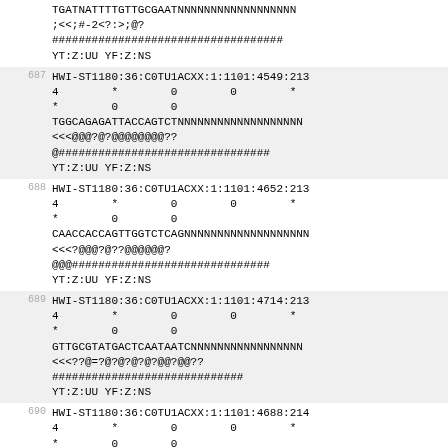TGATNATTTTGTTGCGAATNNNNNNNNNNNNNNNNNNN
;<<;#-2<?:>;@?
###################################
YT:Z:UU YF:Z:NS
687 HWI-ST1180:36:C0TU1ACXX:1:1101:4549:213
4    *    0    0    *
*    0    0
TGGCAGAGATTACCAGTCTNNNNNNNNNNNNNNNNNN
<<<@@@?@?@@@@@@@@??
@################################
YT:Z:UU YF:Z:NS
688 HWI-ST1180:36:C0TU1ACXX:1:1101:4652:213
4    *    0    0    *
*    0    0
CAACCACCAGTTGGTCTCAGNNNNNNNNNNNNNNNNN
<<<<?@@@?@??@@@@@@?
@@@##############################
YT:Z:UU YF:Z:NS
689 HWI-ST1180:36:C0TU1ACXX:1:1101:4714:213
4    *    0    0    *
*    0    0
GTTGCGTATGACTCAATAATCNNNNNNNNNNNNNNNN
<<<??@=?@?@?@?@?@@?@@??
#############################
YT:Z:UU YF:Z:NS
690 HWI-ST1180:36:C0TU1ACXX:1:1101:4688:214
4    *    0    0    *
*    0    0